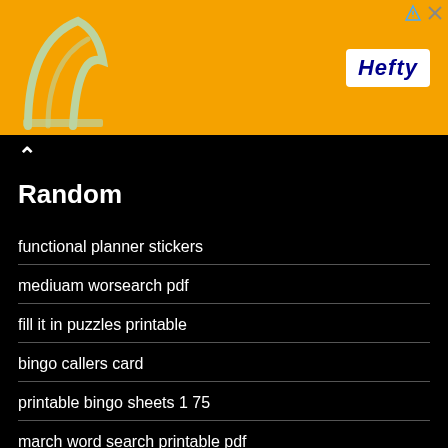[Figure (photo): Orange Hefty brand advertisement banner with logo on right and abstract arch graphic on left]
Random
functional planner stickers
mediuam worsearch pdf
fill it in puzzles printable
bingo callers card
printable bingo sheets 1 75
march word search printable pdf
batman wordsearch
free printable large print word find pages
easter bingo printable suirable for adults